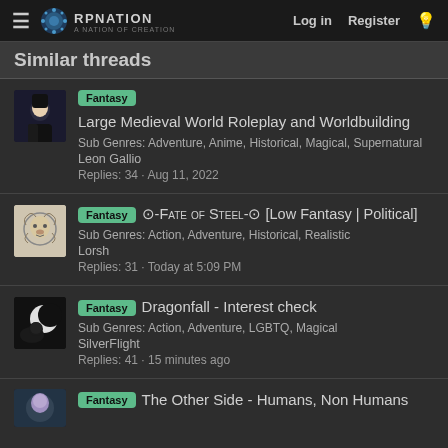RP Nation — Log in, Register
Similar threads
Fantasy | Large Medieval World Roleplay and Worldbuilding | Sub Genres: Adventure, Anime, Historical, Magical, Supernatural | Leon Gallio | Replies: 34 · Aug 11, 2022
Fantasy | ⊙-Fate of Steel-⊙ [Low Fantasy | Political] | Sub Genres: Action, Adventure, Historical, Realistic | Lorsh | Replies: 31 · Today at 5:09 PM
Fantasy | Dragonfall - Interest check | Sub Genres: Action, Adventure, LGBTQ, Magical | SilverFlight | Replies: 41 · 15 minutes ago
Fantasy | The Other Side - Humans, Non Humans (partial)